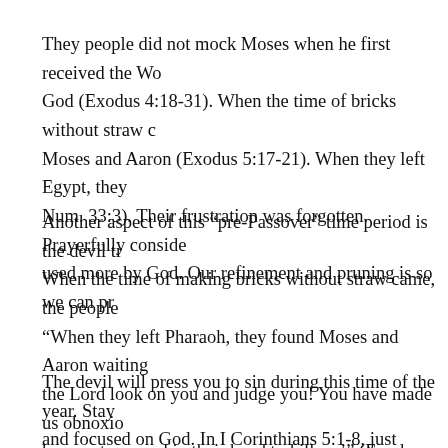They people did not mock Moses when he first received the Word of God (Exodus 4:18-31). When the time of bricks without straw came, Moses and Aaron (Exodus 5:17-21). When they left Egypt, they (Num. 33:3). Their frustration was forgotten. Prayerfully consider used more by God. Our refinement and pruning is so we can produce more fruit.
Another aspect of this “pre-Passover” time period is the devil trying. When the time of making bricks without straw came, the people “When they left Pharaoh, they found Moses and Aaron waiting the Lord look on you and judge you! You have made us obnoxious have put a sword in their hand to kill us.’” (Exodus 5:20-21). The attack of the enemy to get you to rebel against authority or betray.
The devil will press you to sin during this time of the year. Stay and focused on God. In I Corinthians 5:1-8, just before Passover. This was an example of Satan pressing someone to give in to sin the camp because unfortunately, some people actually cheered on 14:30. Jesus said, “I will not say much more to you, for the prince.